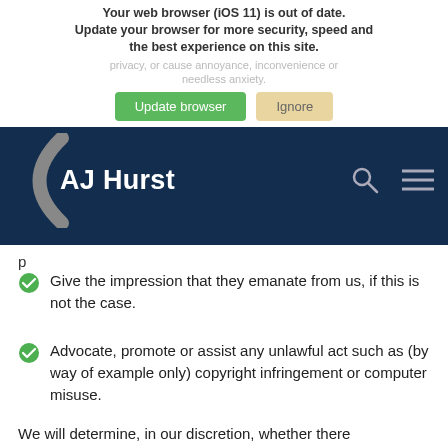Your web browser (iOS 11) is out of date. Update your browser for more security, speed and the best experience on this site.
privacy, or cause annoyance, inconvenience or needless anxiety.
[Figure (screenshot): Browser update dialog with 'Update browser' green button and 'Ignore' tan button]
[Figure (logo): AJ Hurst logo with dark navy background, white arc icon and bold white text, search icon and hamburger menu]
p
Give the impression that they emanate from us, if this is not the case.
Advocate, promote or assist any unlawful act such as (by way of example only) copyright infringement or computer misuse.
We will determine, in our discretion, whether there